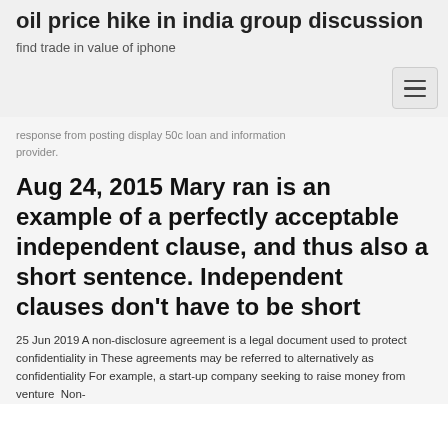oil price hike in india group discussion
find trade in value of iphone
response from posting display 50c loan and information provider.
Aug 24, 2015 Mary ran is an example of a perfectly acceptable independent clause, and thus also a short sentence. Independent clauses don't have to be short
25 Jun 2019 A non-disclosure agreement is a legal document used to protect confidentiality in These agreements may be referred to alternatively as confidentiality For example, a start-up company seeking to raise money from venture  Non-